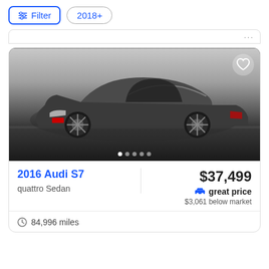Filter  2018+
[Figure (photo): Dark gray Audi S7 quattro Sedan photographed in a studio setting with neutral background and dark flooring. Car is shown from a front three-quarter angle.]
2016 Audi S7
quattro Sedan
$37,499
great price
$3,061 below market
84,996 miles